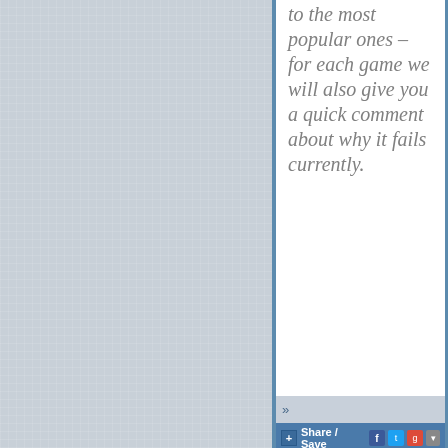[Figure (screenshot): Light gray textured linen-like background panel on the left side of the page]
to the most popular ones – for each game we will also give you a quick comment about why it fails currently.
[Figure (screenshot): Bottom UI bar with chevron (»), Share/Save button with social icons (Facebook, Twitter, Google+, more), and Login link]
» | Share / Save | Login or